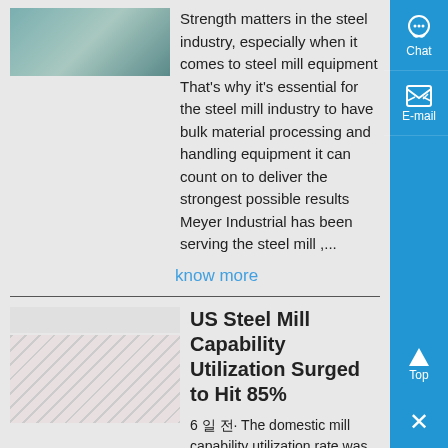[Figure (photo): Thumbnail image of steel mill equipment, partially visible at top]
Strength matters in the steel industry, especially when it comes to steel mill equipment That's why it's essential for the steel mill industry to have bulk material processing and handling equipment it can count on to deliver the strongest possible results Meyer Industrial has been serving the steel mill ,...
know more
[Figure (photo): Thumbnail image showing steel mill items, with a white bar above and steel rods/bars visible]
US Steel Mill Capability Utilization Surged to Hit 85%
6 일 전· The domestic mill capability utilization rate was 852% It must be noted that the production had totalled only 1537 million NT at a much lower capacity utilization rate of 686% during the corresponding week a year before Also, the weekly crude steel production edged higher